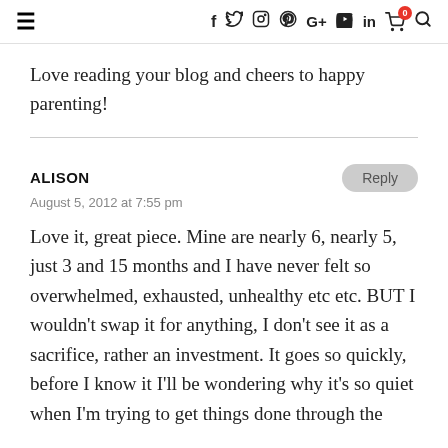≡  f  𝕥  ◎  𝗣  G+  ▶  in  🛒⁰  🔍
Love reading your blog and cheers to happy parenting!
ALISON
August 5, 2012 at 7:55 pm
Love it, great piece. Mine are nearly 6, nearly 5, just 3 and 15 months and I have never felt so overwhelmed, exhausted, unhealthy etc etc. BUT I wouldn't swap it for anything, I don't see it as a sacrifice, rather an investment. It goes so quickly, before I know it I'll be wondering why it's so quiet when I'm trying to get things done through the